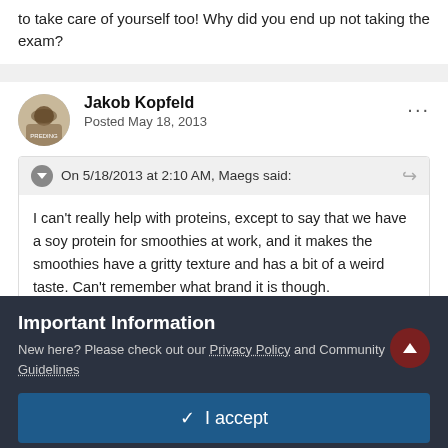to take care of yourself too! Why did you end up not taking the exam?
Jakob Kopfeld
Posted May 18, 2013
On 5/18/2013 at 2:10 AM, Maegs said:
I can't really help with proteins, except to say that we have a soy protein for smoothies at work, and it makes the smoothies have a gritty texture and has a bit of a weird taste. Can't remember what brand it is though.
Important Information
New here? Please check out our Privacy Policy and Community Guidelines
✓  I accept